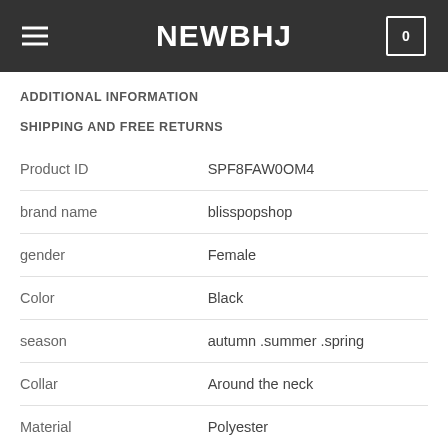NEWBHJ
ADDITIONAL INFORMATION
SHIPPING AND FREE RETURNS
|  |  |
| --- | --- |
| Product ID | SPF8FAW0OM4 |
| brand name | blisspopshop |
| gender | Female |
| Color | Black |
| season | autumn .summer .spring |
| Collar | Around the neck |
| Material | Polyester |